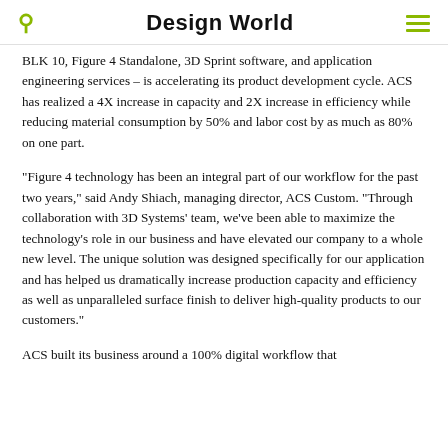Design World
BLK 10, Figure 4 Standalone, 3D Sprint software, and application engineering services – is accelerating its product development cycle. ACS has realized a 4X increase in capacity and 2X increase in efficiency while reducing material consumption by 50% and labor cost by as much as 80% on one part.
“Figure 4 technology has been an integral part of our workflow for the past two years,” said Andy Shiach, managing director, ACS Custom. “Through collaboration with 3D Systems’ team, we’ve been able to maximize the technology’s role in our business and have elevated our company to a whole new level. The unique solution was designed specifically for our application and has helped us dramatically increase production capacity and efficiency as well as unparalleled surface finish to deliver high-quality products to our customers.”
ACS built its business around a 100% digital workflow that